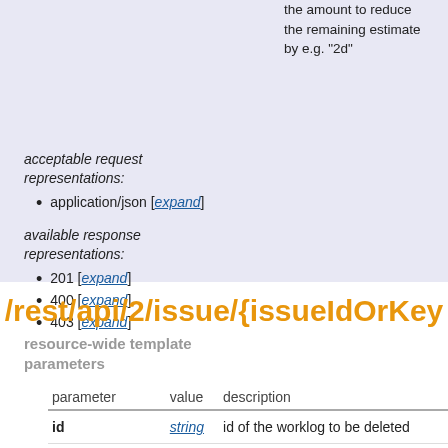the amount to reduce the remaining estimate by e.g. "2d"
acceptable request representations:
application/json [expand]
available response representations:
201 [expand]
400 [expand]
403 [expand]
/rest/api/2/issue/{issueIdOrKey
resource-wide template parameters
| parameter | value | description |
| --- | --- | --- |
| id | string | id of the worklog to be deleted |
| issueIdOrKey | string | a string |